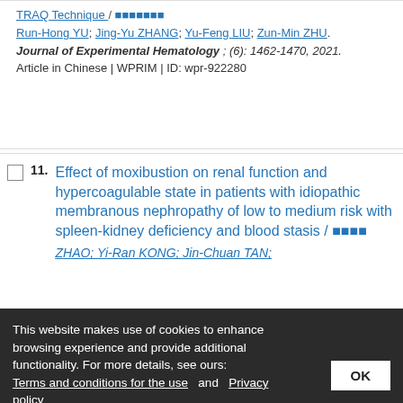TRAQ Technique / [Chinese characters]. Run-Hong YU; Jing-Yu ZHANG; Yu-Feng LIU; Zun-Min ZHU. Journal of Experimental Hematology ; (6): 1462-1470, 2021. Article in Chinese | WPRIM | ID: wpr-922280
11. Effect of moxibustion on renal function and hypercoagulable state in patients with idiopathic membranous nephropathy of low to medium risk with spleen-kidney deficiency and blood stasis / [Chinese characters]
ZHAO; Yi-Ran KONG; Jin-Chuan TAN;
This website makes use of cookies to enhance browsing experience and provide additional functionality. For more details, see ours: Terms and conditions for the use and Privacy policy